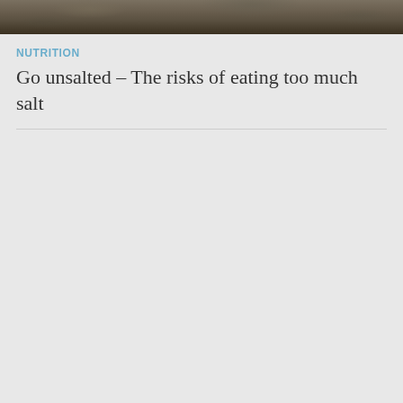[Figure (photo): Dark, muted outdoor photograph showing foliage or landscape in brown and grey tones, cropped to a narrow horizontal strip at the top of the page]
NUTRITION
Go unsalted – The risks of eating too much salt